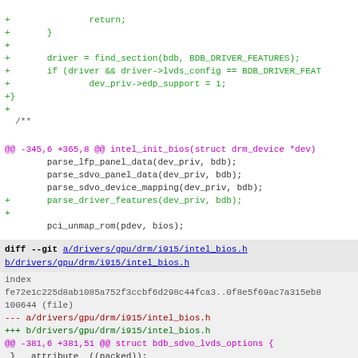+ return;
+       }
+
+       driver = find_section(bdb, BDB_DRIVER_FEATURES);
+       if (driver && driver->lvds_config == BDB_DRIVER_FEAT
+               dev_priv->edp_support = 1;
+}
+
  /**
   * intel_init_bios - initialize VBIOS settings & find VBT
   * @dev: DRM device
@@ -345,6 +365,8 @@ intel_init_bios(struct drm_device *dev)
        parse_lfp_panel_data(dev_priv, bdb);
        parse_sdvo_panel_data(dev_priv, bdb);
        parse_sdvo_device_mapping(dev_priv, bdb);
+       parse_driver_features(dev_priv, bdb);
+
        pci_unmap_rom(pdev, bios);

        return 0;
diff --git a/drivers/gpu/drm/i915/intel_bios.h b/drivers/gpu/drm/i915/intel_bios.h
index
fe72e1c225d8ab1085a752f3ccbf6d298c44fca3..0f8e5f69ac7a315eb8
100644 (file)
--- a/drivers/gpu/drm/i915/intel_bios.h
+++ b/drivers/gpu/drm/i915/intel_bios.h
@@ -381,6 +381,51 @@ struct bdb_sdvo_lvds_options {
 } __attribute__((packed));